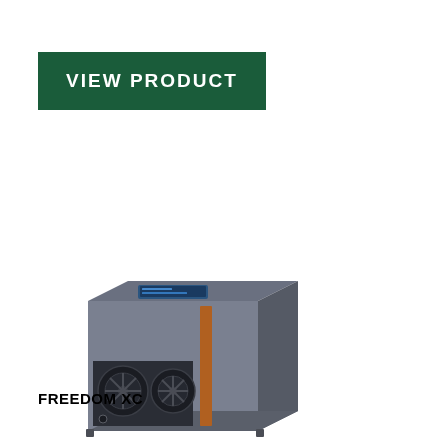[Figure (other): Dark green rectangular button with white bold text reading VIEW PRODUCT]
[Figure (photo): Photo of a grey metal inverter/charger device (Freedom XC) with two cooling fans on the front and a blue LCD display panel on top]
FREEDOM XC